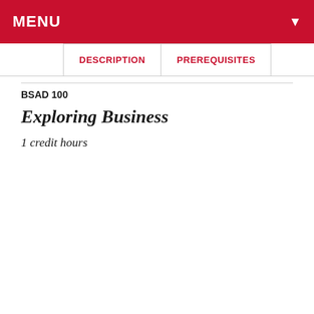MENU
DESCRIPTION   PREREQUISITES
BSAD 100
Exploring Business
1 credit hours
COOKIE USAGE: The University of Nebraska System uses cookies to give you the best online experience. By clicking "I Agree" and/or continuing to use this website without adjusting your browser settings, you accept the use of cookies.
PRIVACY SETTINGS ►►►
I ACCEPT